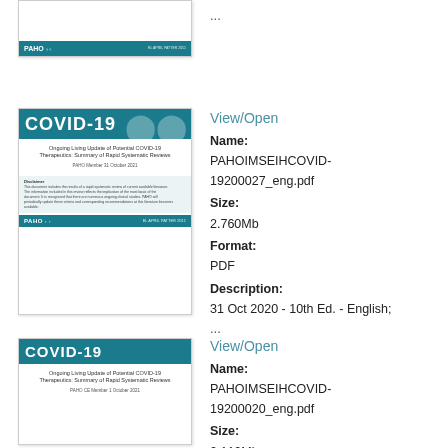[Figure (illustration): Partial thumbnail of COVID-19 PAHO document cover showing bottom footer bar with PAHO logo]
...
[Figure (illustration): Thumbnail of COVID-19 PAHO document cover: Ongoing Living Update of Potential COVID-19 Therapeutics: Summary of Rapid Systematic Reviews, PAHO Member 31 October 2021, with disclaimer section and PAHO footer]
View/Open
Name:
PAHOIMSEIHCOVID-19200027_eng.pdf
Size:
2.760Mb
Format:
PDF
Description:
31 Oct 2020 - 10th Ed. - English;
...
[Figure (illustration): Partial thumbnail of COVID-19 PAHO document cover: Ongoing Living Update of Potential COVID-19 Therapeutics: Summary of Rapid Systematic Reviews, PAHO-CE Member 1 October 2021]
View/Open
Name:
PAHOIMSEIHCOVID-19200020_eng.pdf
Size:
2.110Mb
Format: